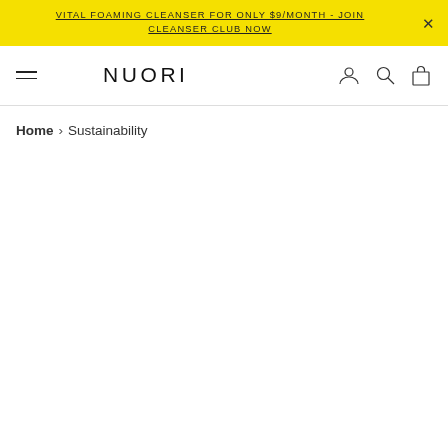VITAL FOAMING CLEANSER FOR ONLY $9/MONTH - JOIN CLEANSER CLUB NOW
NUORI
Home › Sustainability